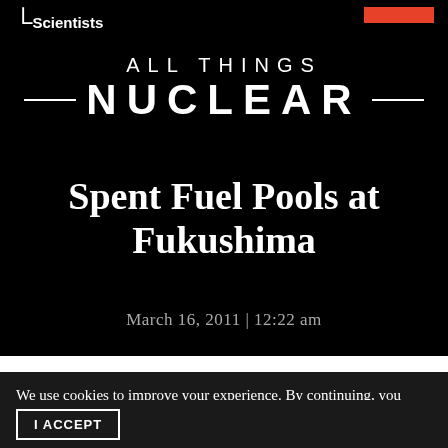Scientists
All Things NUCLEAR
Spent Fuel Pools at Fukushima
March 16, 2011 | 12:22 am
We use cookies to improve your experience. By continuing, you accept our use of cookies. Learn more.
I ACCEPT